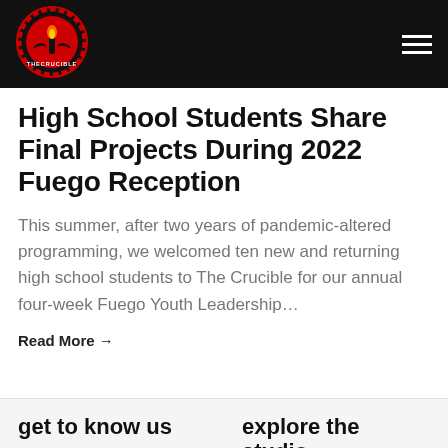[Figure (logo): The Crucible circular logo with torch flame and gear, red and black colors]
High School Students Share Final Projects During 2022 Fuego Reception
This summer, after two years of pandemic-altered programming, we welcomed ten new and returning high school students to The Crucible for our annual four-week Fuego Youth Leadership…
Read More →
get to know us
explore the studio
read our blog